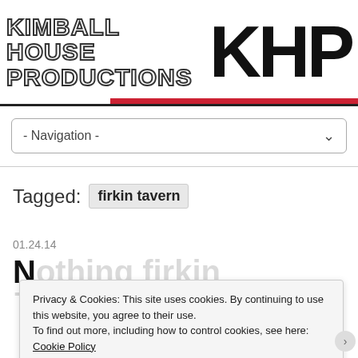[Figure (logo): Kimball House Productions logo with large KHP text on the right and stacked wordmark on the left, separated by black and red horizontal bars]
- Navigation -
Tagged: firkin tavern
01.24.14
N...firkin Performin At...
Privacy & Cookies: This site uses cookies. By continuing to use this website, you agree to their use.
To find out more, including how to control cookies, see here: Cookie Policy
Close and accept